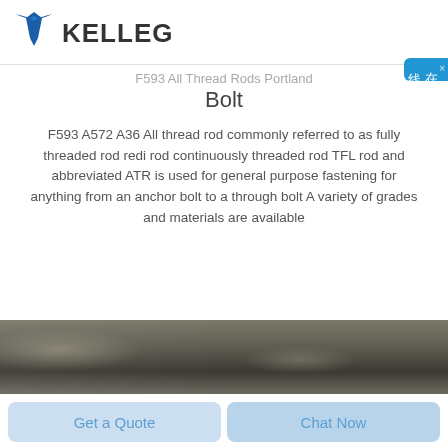KELLEG
F593 All Thread Rods Portland Bolt
F593 A572 A36 All thread rod commonly referred to as fully threaded rod redi rod continuously threaded rod TFL rod and abbreviated ATR is used for general purpose fastening for anything from an anchor bolt to a through bolt A variety of grades and materials are available
[Figure (photo): Close-up photograph of metallic threaded bolt rods with dark grey/olive colored surface]
Get a Quote
Chat Now